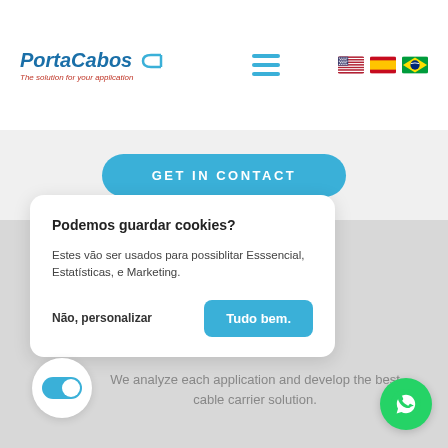[Figure (logo): PortaCabos logo with blue text and arrow, tagline 'The solution for your application']
[Figure (illustration): Hamburger menu icon (three horizontal blue lines)]
[Figure (illustration): Three country flag icons: USA, Spain, Brazil]
GET IN CONTACT
Podemos guardar cookies?
Estes vão ser usados para possiblitar Esssencial, Estatísticas, e Marketing.
Não, personalizar
Tudo bem.
We analyze each application and develop the best cable carrier solution.
[Figure (illustration): Toggle switch icon (on state, blue)]
[Figure (illustration): WhatsApp icon (green circle with phone handset)]